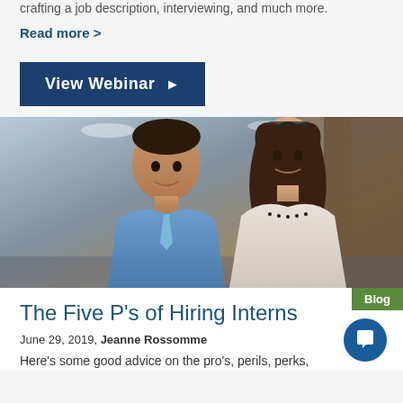crafting a job description, interviewing, and much more.
Read more >
View Webinar ▶
[Figure (photo): Two young professionals, a man in a blue shirt and tie and a woman with long dark hair wearing glasses on her head, smiling in an office environment.]
Blog
The Five P's of Hiring Interns
June 29, 2019, Jeanne Rossomme
Here's some good advice on the pro's, perils, perks,